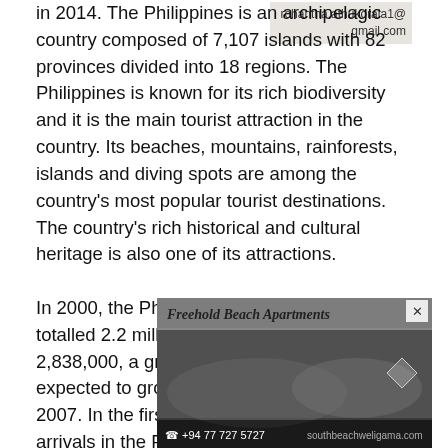rohantha.athukorala1@gmail.com
in 2014. The Philippines is an archipelagic country composed of 7,107 islands with 82 provinces divided into 18 regions. The Philippines is known for its rich biodiversity and it is the main tourist attraction in the country. Its beaches, mountains, rainforests, islands and diving spots are among the country's most popular tourist destinations. The country's rich historical and cultural heritage is also one of its attractions.
In 2000, the Philippines' tourist arrivals totalled 2.2 million. In 2003, it totalled 2,838,000, a growth of almost 29%, and was expected to grow to as much as 3.4 million in 2007. In the first quarter of 2007, tourist arrivals in the Philippines grew by [ad] e previous [ad] recorded [ad] , 11.2% higher th[ad]
[Figure (photo): Advertisement banner for Freehold Beach Apartments with beach photo, phone number +94 77 727 5727 and website southbeachweligama.com]